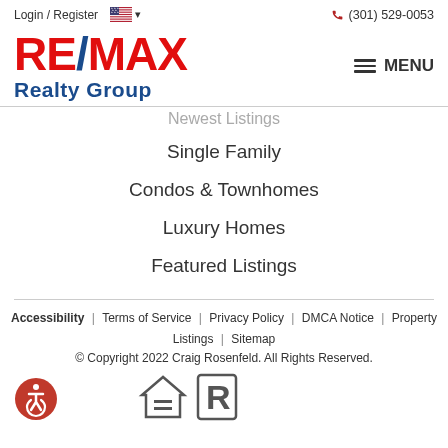Login / Register  🇺🇸 ▾    📞 (301) 529-0053
[Figure (logo): RE/MAX Realty Group logo — RE/MAX in large bold red and blue text with a diagonal slash, and 'Realty Group' in blue below]
≡ MENU
Newest Listings
Single Family
Condos & Townhomes
Luxury Homes
Featured Listings
Accessibility  |  Terms of Service  |  Privacy Policy  |  DMCA Notice  |  Property Listings  |  Sitemap
© Copyright 2022 Craig Rosenfeld. All Rights Reserved.
[Figure (logo): Accessibility icon — red circle with wheelchair user symbol]
[Figure (logo): Equal Housing Opportunity logo — house with equal sign]
[Figure (logo): Realtor logo — stylized R in a square]